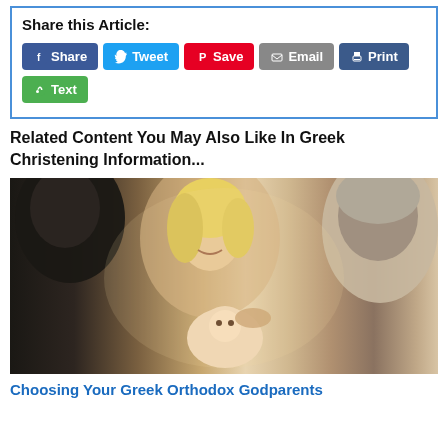Share this Article:
[Figure (screenshot): Social sharing buttons: Share (Facebook, blue), Tweet (Twitter, blue), Save (Pinterest, red), Email (grey), Print (dark blue), Text (green)]
Related Content You May Also Like In Greek Christening Information...
[Figure (photo): Photo of adults including a smiling blonde woman and an older man looking at a baby being held, in a warm indoor setting.]
Choosing Your Greek Orthodox Godparents